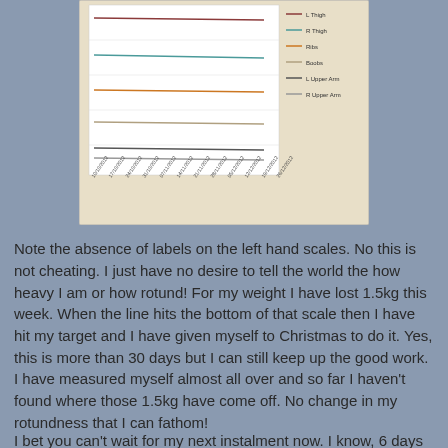[Figure (line-chart): A line chart showing body measurements over time (dates on x-axis from 10/10/2012 through 26/12/2012). Legend shows L Thigh, R Thigh, Ribs, Boobs, L Upper Arm, R Upper Arm. Labels on left hand scale are absent.]
Note the absence of labels on the left hand scales. No this is not cheating. I just have no desire to tell the world the how heavy I am or how rotund! For my weight I have lost 1.5kg this week. When the line hits the bottom of that scale then I have hit my target and I have given myself to Christmas to do it. Yes, this is more than 30 days but I can still keep up the good work.
I have measured myself almost all over and so far I haven't found where those 1.5kg have come off. No change in my rotundness that I can fathom!
I bet you can't wait for my next instalment now. I know, 6 days to wait!